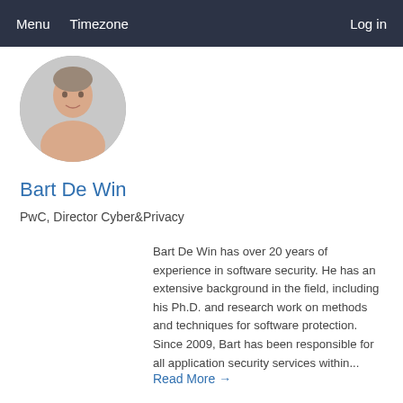Menu   Timezone   Log in
[Figure (photo): Circular profile photo of Bart De Win]
Bart De Win
PwC, Director Cyber&Privacy
Bart De Win has over 20 years of experience in software security. He has an extensive background in the field, including his Ph.D. and research work on methods and techniques for software protection. Since 2009, Bart has been responsible for all application security services within...
Read More →